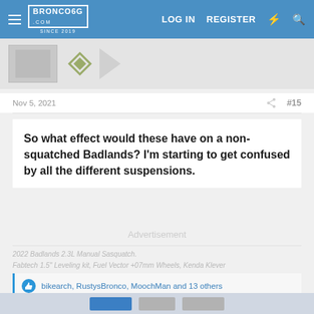Bronco6G.com — LOG IN  REGISTER
Nov 5, 2021  #15
So what effect would these have on a non-squatched Badlands? I'm starting to get confused by all the different suspensions.
Advertisement
2022 Badlands 2.3L Manual Sasquatch. Fabtech 1.5" Leveling kit, Fuel Vector +07mm Wheels, Kenda Klever
bikearch, RustysBronco, MoochMan and 13 others